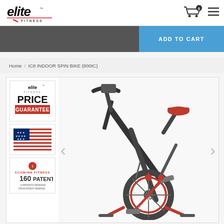[Figure (logo): Elite Fitness logo with lightning bolt and red slash]
[Figure (infographic): Shopping cart icon with badge showing 0 and hamburger menu icon]
[Figure (other): ADD TO CART button in blue on dark banner]
Home / IC8 INDOOR SPIN BIKE (800IC)
[Figure (photo): Schwinn IC8 indoor spin bike product page showing main bike image and thumbnail images including Elite Fitness Price Guarantee badge, USA flag, and 160 Patents badge. Navigation arrows visible on left and right sides.]